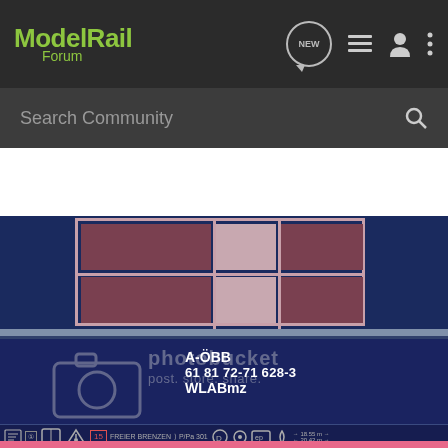Model Rail Forum
Search Community
[Figure (photo): Close-up photograph of a model train car (OBB sleeping car) showing dark blue livery with passenger window, and a label reading: A-ÖBB, 61 81 72-71 628-3, WLABmz. Photobucket watermark overlay visible.]